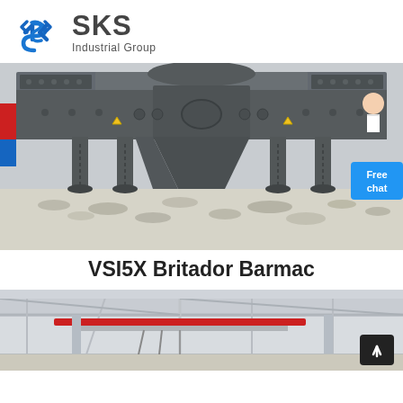[Figure (logo): SKS Industrial Group logo with blue diamond-S icon and text 'SKS Industrial Group']
[Figure (photo): VSI5X Barmac crusher machine, dark grey industrial crusher on gravel ground, with a 'Free chat' blue button in lower-right corner]
VSI5X Britador Barmac
[Figure (photo): Industrial factory interior showing structural steel beams and a red overhead crane rail]